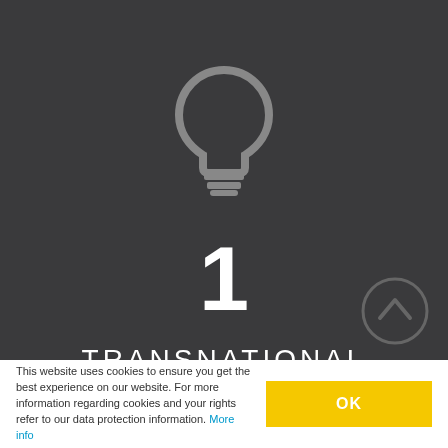[Figure (illustration): Light bulb icon in grey on dark background]
1
TRANSNATIONAL TOOLS
This website uses cookies to ensure you get the best experience on our website. For more information regarding cookies and your rights refer to our data protection information. More info